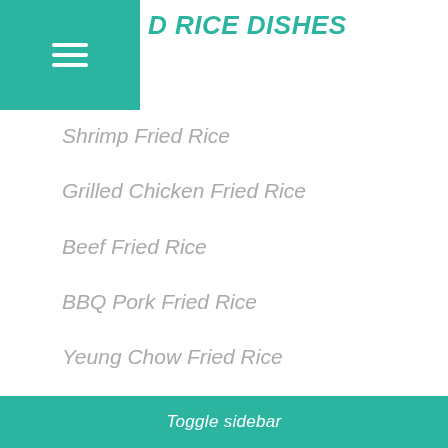D RICE DISHES
Shrimp Fried Rice
Grilled Chicken Fried Rice
Beef Fried Rice
BBQ Pork Fried Rice
Yeung Chow Fried Rice
Vegetables Fried Rice
Toggle sidebar